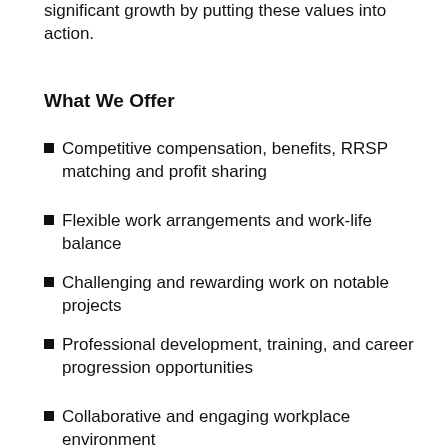significant growth by putting these values into action.
What We Offer
Competitive compensation, benefits, RRSP matching and profit sharing
Flexible work arrangements and work-life balance
Challenging and rewarding work on notable projects
Professional development, training, and career progression opportunities
Collaborative and engaging workplace environment
Company Information
To the Employer in Consulting and